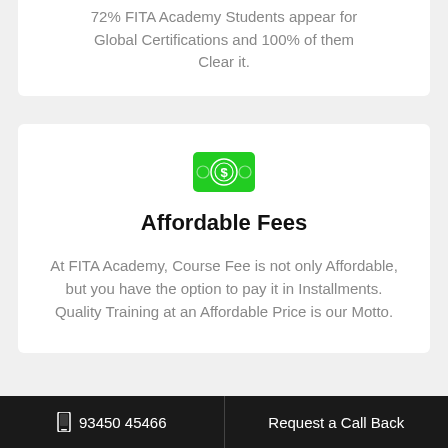72% FITA Academy Students appear for Global Certifications and 100% of them Clear it.
[Figure (illustration): Green money/cash bill icon with a dollar coin in the center]
Affordable Fees
At FITA Academy, Course Fee is not only Affordable, but you have the option to pay it in Installments. Quality Training at an Affordable Price is our Motto.
93450 45466   Request a Call Back